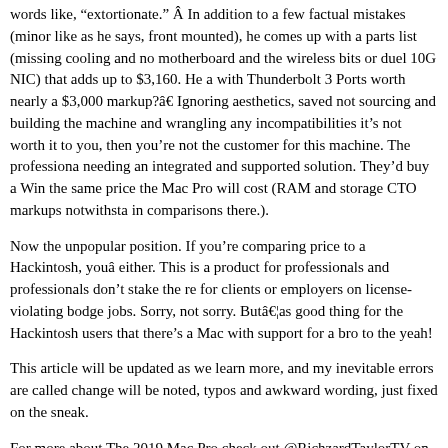words like, “extortionate.” Â In addition to a few factual mistakes (minor like as he says, front mounted), he comes up with a parts list (missing cooling and no motherboard and the wireless bits or duel 10G NIC) that adds up to $3,160. He a with Thunderbolt 3 Ports worth nearly a $3,000 markup?â Ignoring aesthetics, saved not sourcing and building the machine and wrangling any incompatibilities it’s not worth it to you, then you’re not the customer for this machine. The professiona needing an integrated and supported solution. They’d buy a Win the same price the Mac Pro will cost (RAM and storage CTO markups notwithsta in comparisons there.).
Now the unpopular position. If you’re comparing price to a Hackintosh, youâ either. This is a product for professionals and professionals don’t stake the re for clients or employers on license-violating bodge jobs. Sorry, not sorry. Butâ¦as good thing for the Hackintosh users that there’s a Mac with support for a bro to the yeah!
This article will be updated as we learn more, and my inevitable errors are called change will be noted, typos and awkward wording, just fixed on the sneak.
For more about The 2019 Mac Pro check out @RichzardTaylorTV on Twitter and maintaining an ever growing list of Mac Pro articles, videos and information
[Posted and edited with MarsEditÂ ]
Â
UPDATE 6.12.19: A variety of typos fixed and some small tweaks of language to questions or commented on ambiguity. Then there’s this piece from Dr. Ian C discussing the CPU choice in Mac Pro. Apparently confirmed my guess broadly.